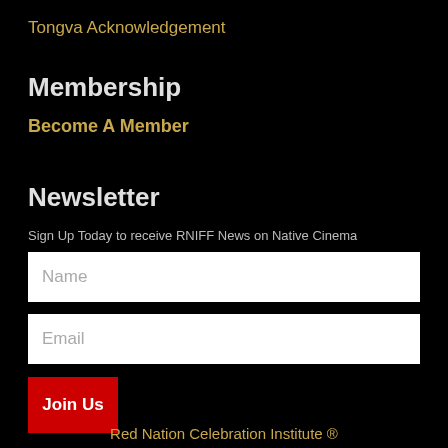Tongva Acknowledgement
Membership
Become A Member
Newsletter
Sign Up Today to receive RNIFF News on Native Cinema
Name
Email
Join Us
Red Nation Celebration Institute ®